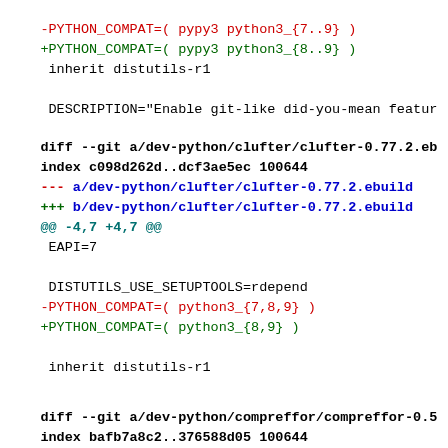-PYTHON_COMPAT=( pypy3 python3_{7..9} )
+PYTHON_COMPAT=( pypy3 python3_{8..9} )
inherit distutils-r1
DESCRIPTION="Enable git-like did-you-mean featur
diff --git a/dev-python/clufter/clufter-0.77.2.eb
index c098d262d..dcf3ae5ec 100644
--- a/dev-python/clufter/clufter-0.77.2.ebuild
+++ b/dev-python/clufter/clufter-0.77.2.ebuild
@@ -4,7 +4,7 @@
EAPI=7
DISTUTILS_USE_SETUPTOOLS=rdepend
-PYTHON_COMPAT=( python3_{7,8,9} )
+PYTHON_COMPAT=( python3_{8,9} )
inherit distutils-r1
diff --git a/dev-python/compreffor/compreffor-0.5
index bafb7a8c2..376588d05 100644
--- a/dev-python/compreffor/compreffor-0.5.1.ebui